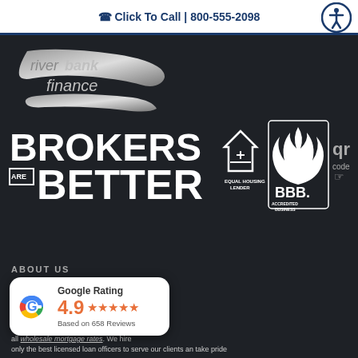☎ Click To Call | 800-555-2098
[Figure (logo): Riverbank Finance logo — stylized metallic swoosh with text 'riverbank finance' on dark background]
[Figure (infographic): BROKERS ARE BETTER text with Equal Housing Lender logo, BBB Accredited Business logo, and QR code icon on dark background]
ABOUT US
[Figure (infographic): Google Rating card showing 4.9 stars based on 658 reviews with Google G logo]
mortgage company in Grand Rapids, ans for both refinancing and new ensive list of mortgage programs all wholesale mortgage rates. We hire only the best licensed loan officers to serve our clients an take pride